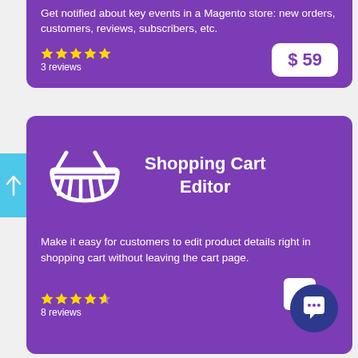Get notified about key events in a Magento store: new orders, customers, reviews, subscribers, etc.
3 reviews
$ 59
[Figure (illustration): Shopping cart icon in white outline on purple background]
Shopping Cart Editor
Make it easy for customers to edit product details right in shopping cart without leaving the cart page.
8 reviews